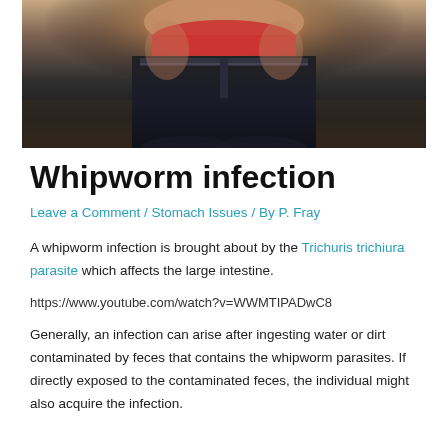[Figure (photo): Photo of a child/person wearing a red shirt and black shorts, torso visible, sitting in a chair]
Whipworm infection
Leave a Comment / Stomach Issues / By P. Fray
A whipworm infection is brought about by the Trichuris trichiura parasite which affects the large intestine.
https://www.youtube.com/watch?v=WWMTIPADwC8
Generally, an infection can arise after ingesting water or dirt contaminated by feces that contains the whipworm parasites. If directly exposed to the contaminated feces, the individual might also acquire the infection.